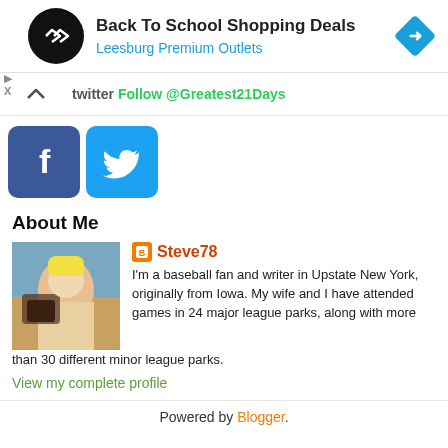[Figure (infographic): Ad banner: Back To School Shopping Deals at Leesburg Premium Outlets with circular logo and blue arrow diamond icon]
Twitter Follow @Greatest21Days
[Figure (logo): Facebook and Twitter social media icon buttons]
About Me
[Figure (photo): Photo of a person holding a baseball glove, baseball stadium background]
Steve78
I'm a baseball fan and writer in Upstate New York, originally from Iowa. My wife and I have attended games in 24 major league parks, along with more than 30 different minor league parks.
View my complete profile
Powered by Blogger.